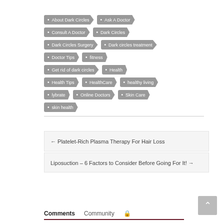About Dark Circles
Ask A Doctor
Consult A Doctor
Dark Circles
Dark Circles Surgery
Dark circles treatment
Doctor Tips
fitness
Get rid of dark circles
Health
Health Tips
HealthCare
healthy living
lybrate
Online Doctors
Skin Care
skin health
← Platelet-Rich Plasma Therapy For Hair Loss
Liposuction – 6 Factors to Consider Before Going For It! →
Comments  Community  🔒